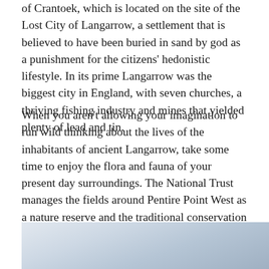of Crantoek, which is located on the site of the Lost City of Langarrow, a settlement that is believed to have been buried in sand by god as a punishment for the citizens' hedonistic lifestyle. In its prime Langarrow was the biggest city in England, with seven churches, a thriving fishing industry and mines that yielded plenty of lead and tin.
When you aren't allowing your imagination to run wild thinking about the lives of the inhabitants of ancient Langarrow, take some time to enjoy the flora and fauna of your present day surroundings. The National Trust manages the fields around Pentire Point West as a nature reserve and the traditional conservation methods they have employed have allowed an impressive 154 species of wild flower to flourish here. In summer, poppies, cornflowers and a whole host of summer-flowering wild flowers cover the headland, but in late spring you can look out for the wonderfully named Venus' Looking Glass, Shepherd's Needle and Western Ramping Fumitory.
[Figure (photo): Landscape photo showing a coastal or moorland scene with pale sky and light-toned ground, partially visible at the bottom of the page.]